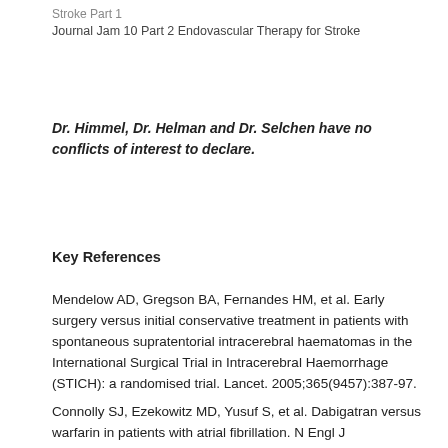Stroke Part 1
Journal Jam 10 Part 2 Endovascular Therapy for Stroke
Dr. Himmel, Dr. Helman and Dr. Selchen have no conflicts of interest to declare.
Key References
Mendelow AD, Gregson BA, Fernandes HM, et al. Early surgery versus initial conservative treatment in patients with spontaneous supratentorial intracerebral haematomas in the International Surgical Trial in Intracerebral Haemorrhage (STICH): a randomised trial. Lancet. 2005;365(9457):387-97.
Connolly SJ, Ezekowitz MD, Yusuf S, et al. Dabigatran versus warfarin in patients with atrial fibrillation. N Engl J